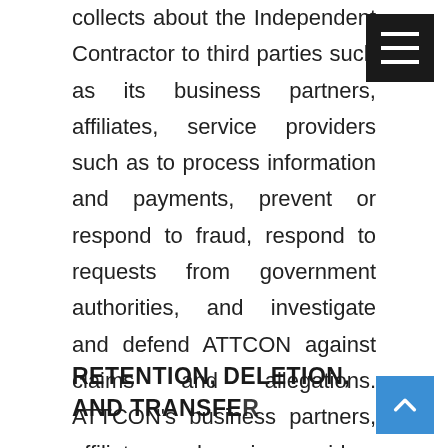collects about the Independent Contractor to third parties such as its business partners, affiliates, service providers such as to process information and payments, prevent or respond to fraud, respond to requests from government authorities, and investigate and defend ATTCON against claims and allegations. ATTCON's business partners, affiliates, and service providers are not permitted to use the Independent Contractor's Information for their own purposes (including direct marketing) without the consent of the Independent Contractor.
RETENTION, DELETION, AND TRANSFER OF INFORMATION